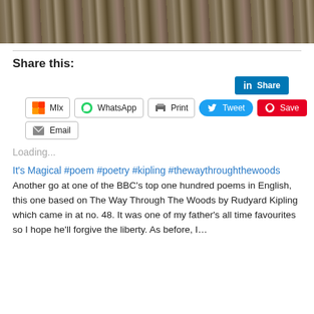[Figure (photo): Top photo strip showing dried mushrooms or fungi on ground with grass/straw, cropped to a narrow horizontal band.]
Share this:
[Figure (screenshot): Social sharing buttons: LinkedIn Share, Mix, WhatsApp, Print, Tweet, Save (Pinterest), Email]
Loading...
It's Magical #poem #poetry #kipling #thewaythroughthewoods
Another go at one of the BBC's top one hundred poems in English, this one based on The Way Through The Woods by Rudyard Kipling which came in at no. 48. It was one of my father's all time favourites so I hope he'll forgive the liberty. As before, I…